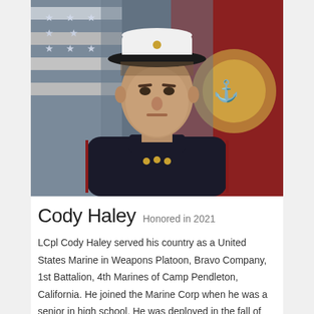[Figure (photo): Official United States Marine Corps portrait photo of LCpl Cody Haley in dress blues uniform with white cover (hat), standing in front of an American flag and Marine Corps emblem backdrop.]
Cody Haley  Honored in 2021
LCpl Cody Haley served his country as a United States Marine in Weapons Platoon, Bravo Company, 1st Battalion, 4th Marines of Camp Pendleton, California. He joined the Marine Corp when he was a senior in high school. He was deployed in the fall of 2016 and returned in May of 2017. He died in a training accident at Camp Pendleton, California on Friday, August 4, 2017. Cody...